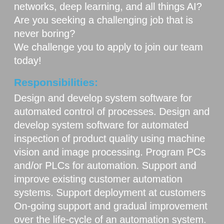networks, deep learning, and all things AI? Are you seeking a challenging job that is never boring? We challenge you to apply to join our team today!
Responsibilities:
Design and develop system software for automated control of processes. Design and develop system software for automated inspection of product quality using machine vision and image processing. Program PCs and/or PLCs for automation. Support and improve existing customer automation systems. Support deployment at customers On-going support and gradual improvement over the life-cycle of an automation system.
Requirements: